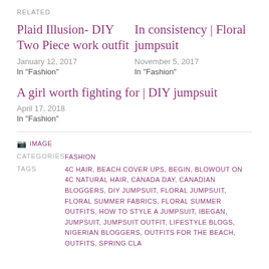RELATED
Plaid Illusion- DIY Two Piece work outfit
January 12, 2017
In "Fashion"
In consistency | Floral jumpsuit
November 5, 2017
In "Fashion"
A girl worth fighting for | DIY jumpsuit
April 17, 2018
In "Fashion"
📷 IMAGE
CATEGORIES  FASHION
TAGS  4C HAIR, BEACH COVER UPS, BEGIN, BLOWOUT ON 4C NATURAL HAIR, CANADA DAY, CANADIAN BLOGGERS, DIY JUMPSUIT, FLORAL JUMPSUIT, FLORAL SUMMER FABRICS, FLORAL SUMMER OUTFITS, HOW TO STYLE A JUMPSUIT, IBEGAN, JUMPSUIT, JUMPSUIT OUTFIT, LIFESTYLE BLOGS, NIGERIAN BLOGGERS, OUTFITS FOR THE BEACH, OUTFITS, SPRING CLASS